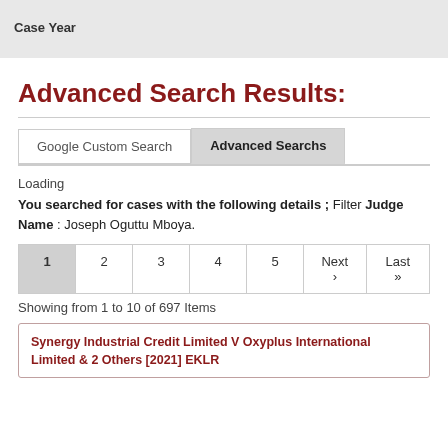Case Year
Advanced Search Results:
Google Custom Search | Advanced Searchs
Loading
You searched for cases with the following details ; Filter Judge Name : Joseph Oguttu Mboya.
1 2 3 4 5 Next › Last »
Showing from 1 to 10 of 697 Items
Synergy Industrial Credit Limited V Oxyplus International Limited & 2 Others [2021] EKLR